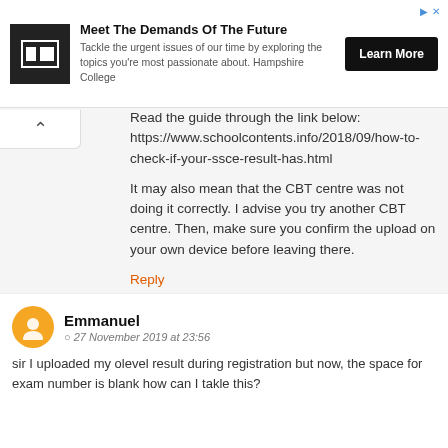[Figure (other): Advertisement banner for Hampshire College: 'Meet The Demands Of The Future' with Learn More button]
Read the guide through the link below: https://www.schoolcontents.info/2018/09/how-to-check-if-your-ssce-result-has.html

It may also mean that the CBT centre was not doing it correctly. I advise you try another CBT centre. Then, make sure you confirm the upload on your own device before leaving there.
Reply
Emmanuel
27 November 2019 at 23:56
sir I uploaded my olevel result during registration but now, the space for exam number is blank how can I takle this?